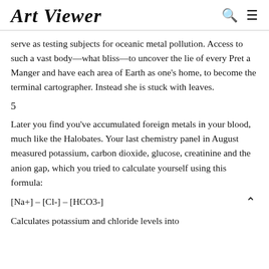Art Viewer
serve as testing subjects for oceanic metal pollution. Access to such a vast body––what bliss––to uncover the lie of every Pret a Manger and have each area of Earth as one's home, to become the terminal cartographer. Instead she is stuck with leaves.
5
Later you find you've accumulated foreign metals in your blood, much like the Halobates. Your last chemistry panel in August measured potassium, carbon dioxide, glucose, creatinine and the anion gap, which you tried to calculate yourself using this formula:
Calculates potassium and chloride levels into